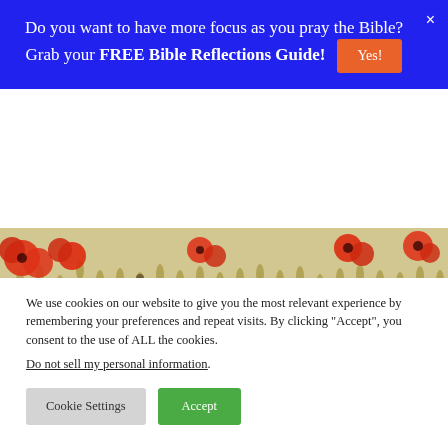Do you want to have more focus as you pray the Bible? Grab your FREE Bible Reflections Guide! Yes!
[Figure (photo): Field of wheat/grain stalks with red poppy flowers scattered throughout, photographed close-up with soft natural lighting.]
We use cookies on our website to give you the most relevant experience by remembering your preferences and repeat visits. By clicking "Accept", you consent to the use of ALL the cookies.
Do not sell my personal information.
Cookie Settings  Accept